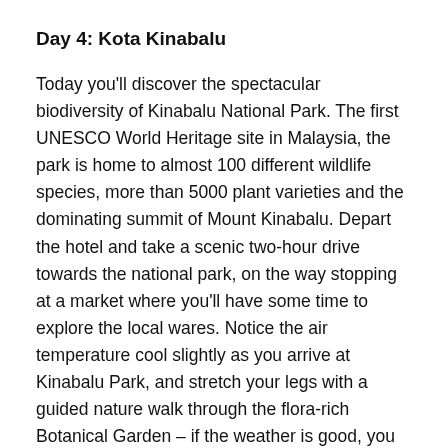Day 4: Kota Kinabalu
Today you'll discover the spectacular biodiversity of Kinabalu National Park. The first UNESCO World Heritage site in Malaysia, the park is home to almost 100 different wildlife species, more than 5000 plant varieties and the dominating summit of Mount Kinabalu. Depart the hotel and take a scenic two-hour drive towards the national park, on the way stopping at a market where you'll have some time to explore the local wares. Notice the air temperature cool slightly as you arrive at Kinabalu Park, and stretch your legs with a guided nature walk through the flora-rich Botanical Garden – if the weather is good, you may get a clear view of Mount Kinabalu. Have lunch at a local restaurant before leaving the park for the Poring Hot Springs – a popular area